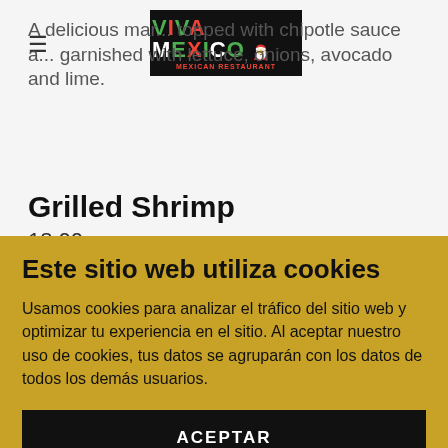[Figure (logo): Viva Mexico Mexican Restaurant logo — black background with colorful text]
A delicious mar... topped with chipotle sauce a... garnished with lettuce, onions, avocado and lime.
Grilled Shrimp
18.00
Este sitio web utiliza cookies
Usamos cookies para analizar el tráfico del sitio web y optimizar tu experiencia en el sitio. Al aceptar nuestro uso de cookies, tus datos se agruparán con los datos de todos los demás usuarios.
ACEPTAR